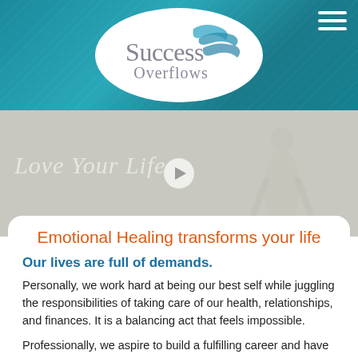[Figure (logo): Success Overflows logo — white oval with serif text 'Success Overflows' and blue wave swoosh, on teal textured background with hamburger menu icon in top-right]
[Figure (photo): Hero banner with light gray/beige background, italic script text 'Love Your Life' in faint white, a circular play button in the center, and a faint silhouette figure on the right]
Emotional Healing transforms your life
Our lives are full of demands.
Personally, we work hard at being our best self while juggling the responsibilities of taking care of our health, relationships, and finances. It is a balancing act that feels impossible.
Professionally, we aspire to build a fulfilling career and have a